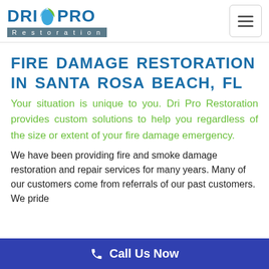[Figure (logo): Dri Pro Restoration logo with blue text and leaf/water droplet icon, with 'Restoration' in a grey banner below]
FIRE DAMAGE RESTORATION IN SANTA ROSA BEACH, FL
Your situation is unique to you. Dri Pro Restoration provides custom solutions to help you regardless of the size or extent of your fire damage emergency.
We have been providing fire and smoke damage restoration and repair services for many years. Many of our customers come from referrals of our past customers. We pride
Call Us Now